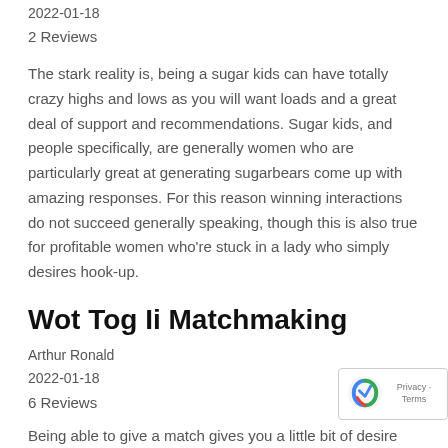2022-01-18
2 Reviews
The stark reality is, being a sugar kids can have totally crazy highs and lows as you will want loads and a great deal of support and recommendations. Sugar kids, and people specifically, are generally women who are particularly great at generating sugarbears come up with amazing responses. For this reason winning interactions do not succeed generally speaking, though this is also true for profitable women who're stuck in a lady who simply desires hook-up.
Wot Tog Ii Matchmaking
Arthur Ronald
2022-01-18
6 Reviews
Being able to give a match gives you a little bit of desire